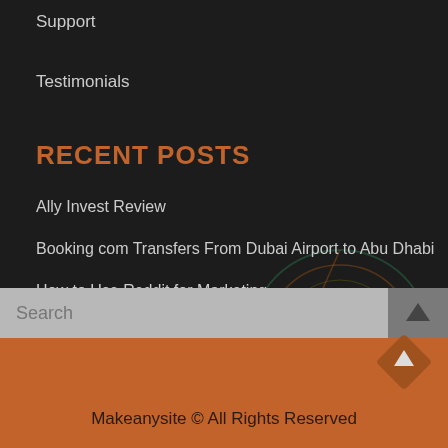Support
Testimonials
RECENT POSTS
Ally Invest Review
Booking com Transfers From Dubai Airport to Abu Dhabi
How to Use Reddit for Marketing
Benefits of Enterprise Application From the Owlab Group
How to choose a good service for developing a mobile app
Makeanysite © All Rights Reserved